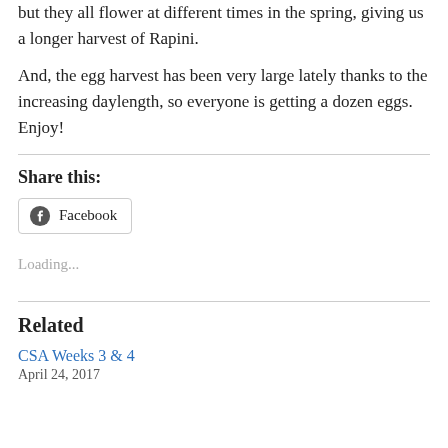but they all flower at different times in the spring, giving us a longer harvest of Rapini.
And, the egg harvest has been very large lately thanks to the increasing daylength, so everyone is getting a dozen eggs. Enjoy!
Share this:
[Figure (other): Facebook share button with Facebook icon]
Loading...
Related
CSA Weeks 3 & 4
April 24, 2017